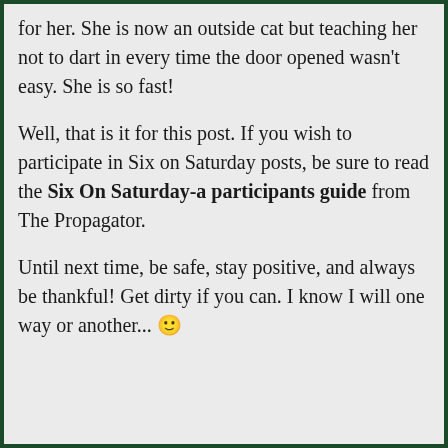for her. She is now an outside cat but teaching her not to dart in every time the door opened wasn't easy. She is so fast!
Well, that is it for this post. If you wish to participate in Six on Saturday posts, be sure to read the Six On Saturday-a participants guide from The Propagator.
Until next time, be safe, stay positive, and always be thankful! Get dirty if you can. I know I will one way or another... 🙂